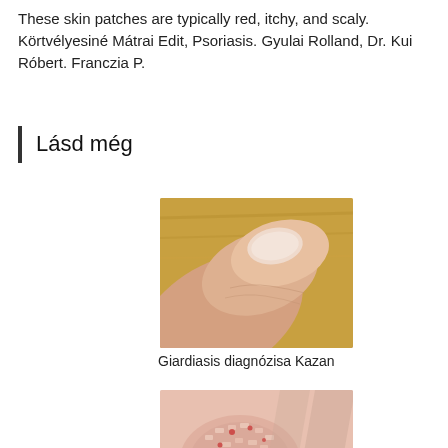These skin patches are typically red, itchy, and scaly. Körtvélyesiné Mátrai Edit, Psoriasis. Gyulai Rolland, Dr. Kui Róbert. Franczia P.
Lásd még
[Figure (photo): Close-up photo of a human fingertip showing skin changes, possibly psoriasis or nail-related condition, placed on a wooden surface.]
Giardiasis diagnózisa Kazan
[Figure (photo): Close-up photo of skin showing scaly, red, inflamed patches consistent with psoriasis.]
Pikkelysömör kezelése hipnózissal